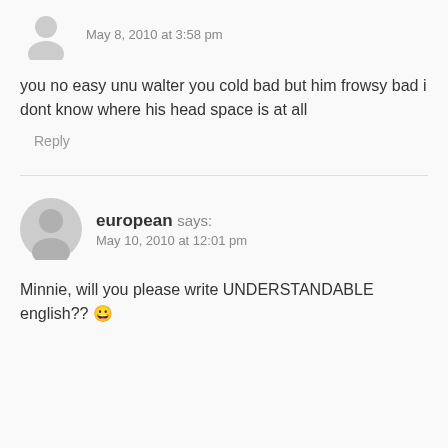[Figure (illustration): Grey user avatar icon (partially visible at top)]
May 8, 2010 at 3:58 pm
you no easy unu walter you cold bad but him frowsy bad i dont know where his head space is at all
Reply
[Figure (illustration): Grey user avatar icon for user 'european']
european says: May 10, 2010 at 12:01 pm
Minnie, will you please write UNDERSTANDABLE english?? 😀